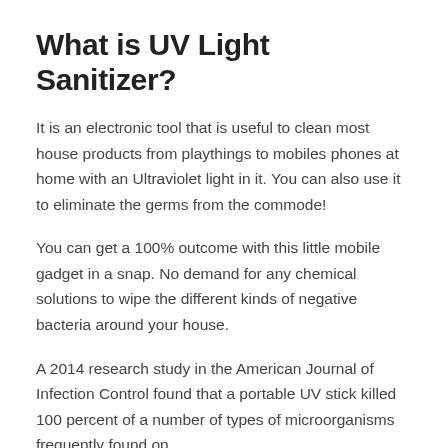What is UV Light Sanitizer?
It is an electronic tool that is useful to clean most house products from playthings to mobiles phones at home with an Ultraviolet light in it. You can also use it to eliminate the germs from the commode!
You can get a 100% outcome with this little mobile gadget in a snap. No demand for any chemical solutions to wipe the different kinds of negative bacteria around your house.
A 2014 research study in the American Journal of Infection Control found that a portable UV stick killed 100 percent of a number of types of microorganisms frequently found on